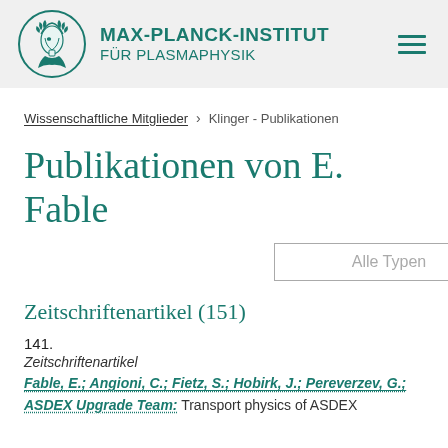[Figure (logo): Max-Planck-Institut für Plasmaphysik logo with teal Minerva head in circle and institute name]
MAX-PLANCK-INSTITUT FÜR PLASMAPHYSIK
Wissenschaftliche Mitglieder > Klinger - Publikationen
Publikationen von E. Fable
Alle Typen
Zeitschriftenartikel (151)
141.
Zeitschriftenartikel
Fable, E.; Angioni, C.; Fietz, S.; Hobirk, J.; Pereverzev, G.; ASDEX Upgrade Team: Transport physics of ASDEX